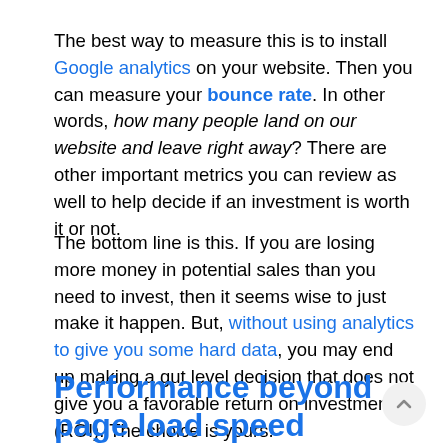The best way to measure this is to install Google analytics on your website. Then you can measure your bounce rate. In other words, how many people land on our website and leave right away? There are other important metrics you can review as well to help decide if an investment is worth it or not.
The bottom line is this. If you are losing more money in potential sales than you need to invest, then it seems wise to just make it happen. But, without using analytics to give you some hard data, you may end up making a gut level decision that does not give you a favorable return on investment (ROI). The choice is yours.
Performance beyond page load speed